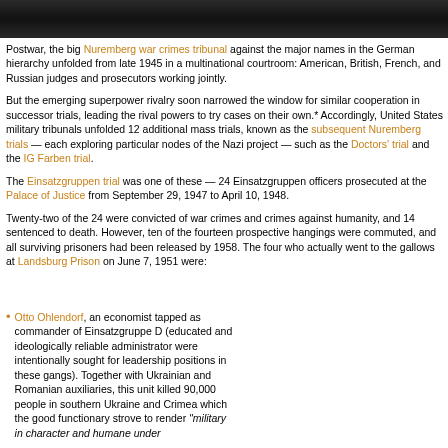[Figure (photo): Black and white historical photo banner at top of page, showing figures in dark tones.]
Postwar, the big Nuremberg war crimes tribunal against the major names in the German hierarchy unfolded from late 1945 in a multinational courtroom: American, British, French, and Russian judges and prosecutors working jointly.
But the emerging superpower rivalry soon narrowed the window for similar cooperation in successor trials, leading the rival powers to try cases on their own.* Accordingly, United States military tribunals unfolded 12 additional mass trials, known as the subsequent Nuremberg trials — each exploring particular nodes of the Nazi project — such as the Doctors' trial and the IG Farben trial.
The Einsatzgruppen trial was one of these — 24 Einsatzgruppen officers prosecuted at the Palace of Justice from September 29, 1947 to April 10, 1948.
Twenty-two of the 24 were convicted of war crimes and crimes against humanity, and 14 sentenced to death. However, ten of the fourteen prospective hangings were commuted, and all surviving prisoners had been released by 1958. The four who actually went to the gallows at Landsburg Prison on June 7, 1951 were:
Otto Ohlendorf, an economist tapped as commander of Einsatzgruppe D (educated and ideologically reliable administrator were intentionally sought for leadership positions in these gangs). Together with Ukrainian and Romanian auxiliaries, this unit killed 90,000 people in southern Ukraine and Crimea which the good functionary strove to render "military in character and humane under
Out of the total number of the persons designated for the execution, 15 men were led in each case to the brink of the mass grave where they had to kneel down, their faces turned toward the grave. At that time, clothes and valuables were not yet collected. Later on this was changed ...